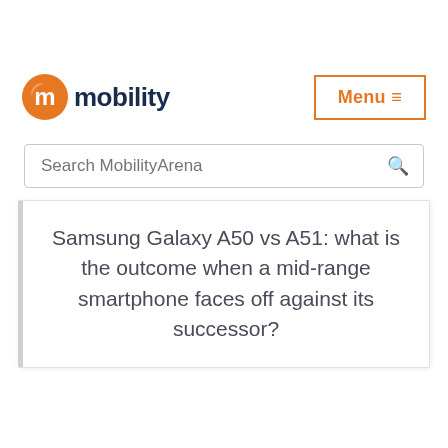[Figure (logo): MobilityArena logo with orange circular M icon and dark blue 'mobility' text]
Menu ≡
Search MobilityArena
Samsung Galaxy A50 vs A51: what is the outcome when a mid-range smartphone faces off against its successor?